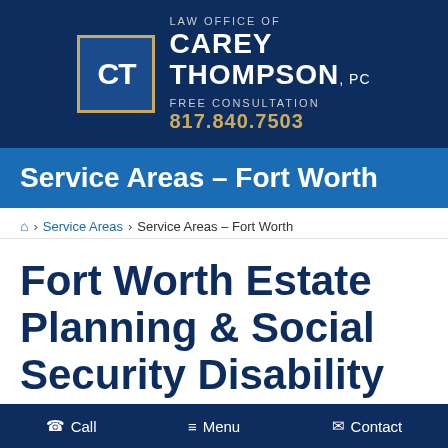[Figure (logo): Law Office of Carey Thompson, PC logo with CT initials in a bordered box, firm name, free consultation text, and phone number 817.840.7503]
Service Areas – Fort Worth
🏠 > Service Areas > Service Areas – Fort Worth
Fort Worth Estate Planning & Social Security Disability Attorney
Call   Menu   Contact